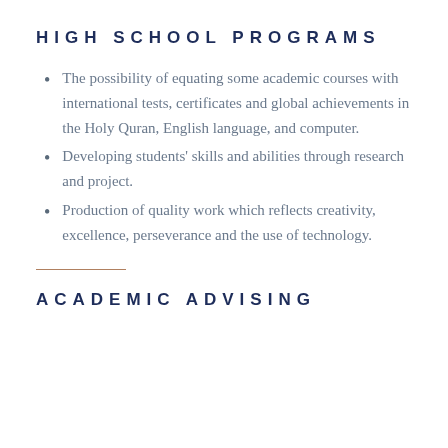HIGH SCHOOL PROGRAMS
The possibility of equating some academic courses with international tests, certificates and global achievements in the Holy Quran, English language, and computer.
Developing students' skills and abilities through research and project.
Production of quality work which reflects creativity, excellence, perseverance and the use of technology.
ACADEMIC ADVISING